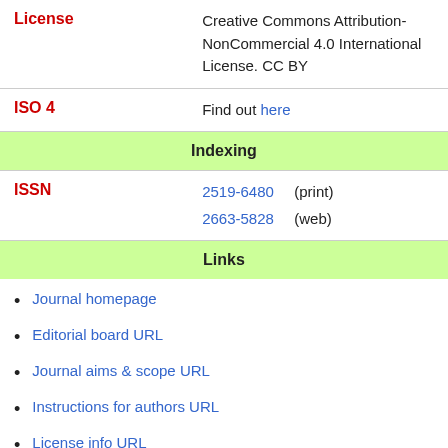| Field | Value |
| --- | --- |
| License | Creative Commons Attribution-NonCommercial 4.0 International License. CC BY |
| ISO 4 | Find out here |
| Indexing |  |
| ISSN | 2519-6480 (print) 2663-5828 (web) |
| Links |  |
Journal homepage
Editorial board URL
Journal aims & scope URL
Instructions for authors URL
License info URL